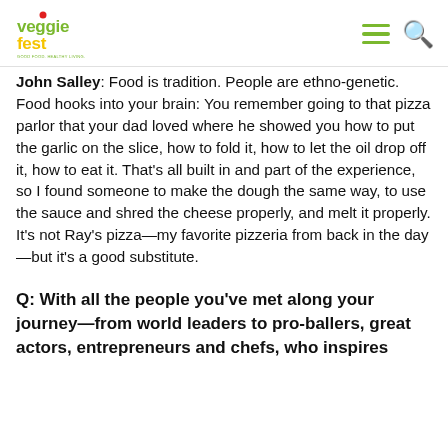veggiefest [logo] [hamburger menu] [search icon]
John Salley: Food is tradition. People are ethno-genetic. Food hooks into your brain: You remember going to that pizza parlor that your dad loved where he showed you how to put the garlic on the slice, how to fold it, how to let the oil drop off it, how to eat it. That's all built in and part of the experience, so I found someone to make the dough the same way, to use the sauce and shred the cheese properly, and melt it properly. It's not Ray's pizza—my favorite pizzeria from back in the day—but it's a good substitute.
Q: With all the people you've met along your journey—from world leaders to pro-ballers, great actors, entrepreneurs and chefs, who inspires